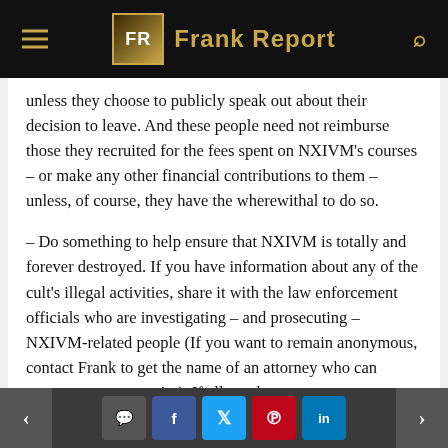Frank Report
unless they choose to publicly speak out about their decision to leave. And these people need not reimburse those they recruited for the fees spent on NXIVM’s courses – or make any other financial contributions to them – unless, of course, they have the wherewithal to do so.
– Do something to help ensure that NXIVM is totally and forever destroyed. If you have information about any of the cult’s illegal activities, share it with the law enforcement officials who are investigating – and prosecuting – NXIVM-related people (If you want to remain anonymous, contact Frank to get the name of an attorney who can ensure your anonymity). If all you have are